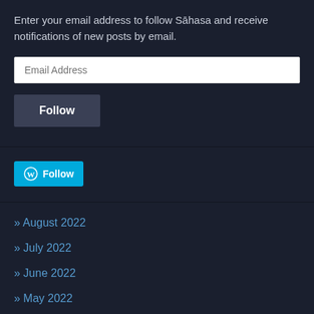Enter your email address to follow Sāhasa and receive notifications of new posts by email.
[Figure (screenshot): Email address input field (white text box) with placeholder text 'Email Address']
[Figure (screenshot): Dark grey Follow button with white bold text 'Follow']
[Figure (screenshot): Cyan/blue WordPress Follow button with WordPress logo icon and white text 'Follow']
» August 2022
» July 2022
» June 2022
» May 2022